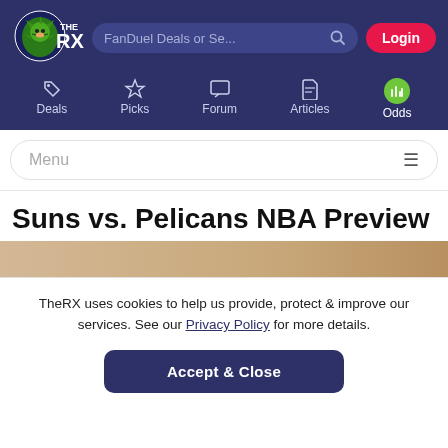[Figure (logo): TheRX logo with lion mascot and THE RX text in white on dark blue background]
FanDuel Deals or Se...  Login  |  Deals  Picks  Forum  Articles  Odds
Menu
Suns vs. Pelicans NBA Preview
TheRX uses cookies to help us provide, protect & improve our services. See our Privacy Policy for more details.
Accept & Close